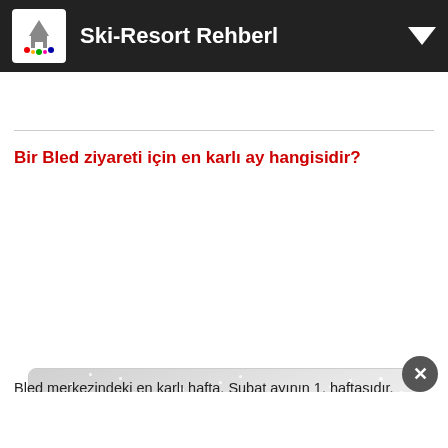Ski-Resort Rehberi
Bir Bled ziyareti için en karlı ay hangisidir?
[Figure (infographic): Snow card showing the snowiest month: Şubat (February), with subtitle 'Ortalama: 1.8 Haftalık Kar Günleri' on a grey snowy background.]
Bled merkezindeki en karlı hafta, Şubat ayının 1. haftasıdır. Bu hafta boyunca genellikle 1.8 karlı gün ve 3.5 in kar yağışı vardır. Aşağıda yer alan Bled K...